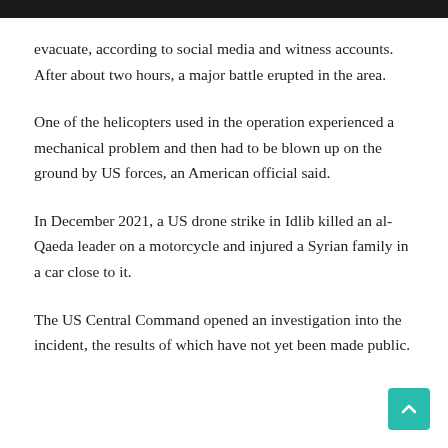evacuate, according to social media and witness accounts. After about two hours, a major battle erupted in the area.
One of the helicopters used in the operation experienced a mechanical problem and then had to be blown up on the ground by US forces, an American official said.
In December 2021, a US drone strike in Idlib killed an al-Qaeda leader on a motorcycle and injured a Syrian family in a car close to it.
The US Central Command opened an investigation into the incident, the results of which have not yet been made public.